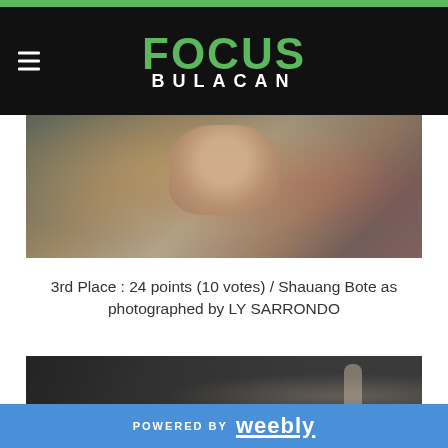FOCUS BULACAN
[Figure (photo): Close-up photo of hands buttoning a shirt, warm tones with bokeh background]
3rd Place : 24 points (10 votes) / Shauang Bote as photographed by LY SARRONDO
[Figure (photo): Dark moody photo of a person standing against a wall with writings/graffiti]
POWERED BY weebly